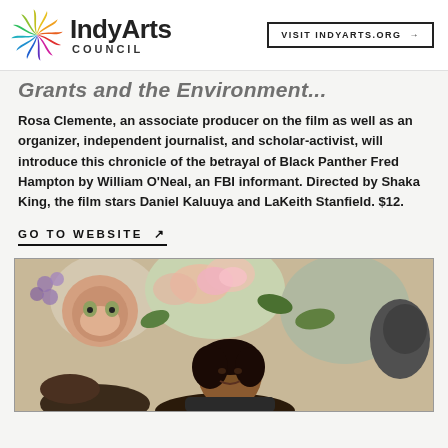IndyArts Council | VISIT INDYARTS.ORG →
Grants and the Environment...
Rosa Clemente, an associate producer on the film as well as an organizer, independent journalist, and scholar-activist, will introduce this chronicle of the betrayal of Black Panther Fred Hampton by William O'Neal, an FBI informant. Directed by Shaka King, the film stars Daniel Kaluuya and LaKeith Stanfield. $12.
GO TO WEBSITE ↗
[Figure (photo): Two people posing in front of a colorful floral and animal mural featuring a monkey and flowers.]